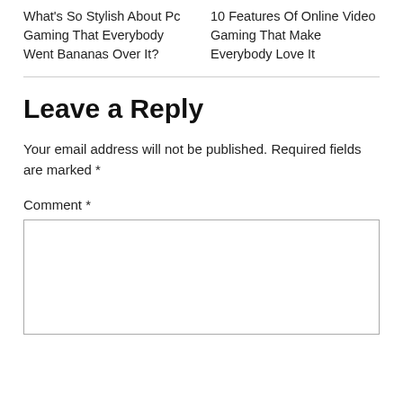What's So Stylish About Pc Gaming That Everybody Went Bananas Over It?
10 Features Of Online Video Gaming That Make Everybody Love It
Leave a Reply
Your email address will not be published. Required fields are marked *
Comment *